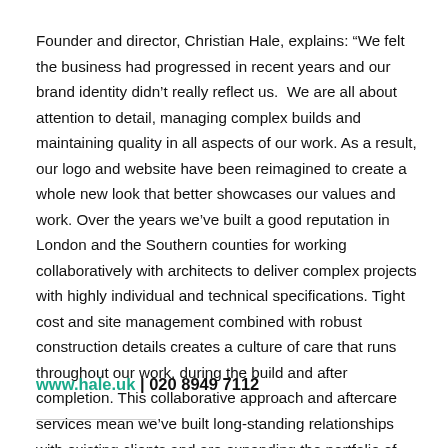Founder and director, Christian Hale, explains: “We felt the business had progressed in recent years and our brand identity didn’t really reflect us.  We are all about attention to detail, managing complex builds and maintaining quality in all aspects of our work. As a result, our logo and website have been reimagined to create a whole new look that better showcases our values and work. Over the years we’ve built a good reputation in London and the Southern counties for working collaboratively with architects to deliver complex projects with highly individual and technical specifications. Tight cost and site management combined with robust construction details creates a culture of care that runs throughout our work, during the build and after completion. This collaborative approach and aftercare services mean we’ve built long-standing relationships with existing clients and are expanding the portfolio of architectural partners we work with.”
www.hale.uk | 020 8949 7112